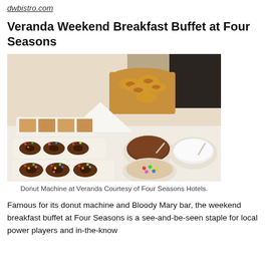dwbistro.com
Veranda Weekend Breakfast Buffet at Four Seasons
[Figure (photo): Photo of a breakfast buffet donut station at Veranda, Four Seasons. Trays of assorted donuts including sprinkled and chocolate-frosted varieties on white platters, alongside a basket of plain donuts and bowls of chocolate and cream dipping sauces.]
Donut Machine at Veranda Courtesy of Four Seasons Hotels.
Famous for its donut machine and Bloody Mary bar, the weekend breakfast buffet at Four Seasons is a see-and-be-seen staple for local power players and in-the-know visitors and...